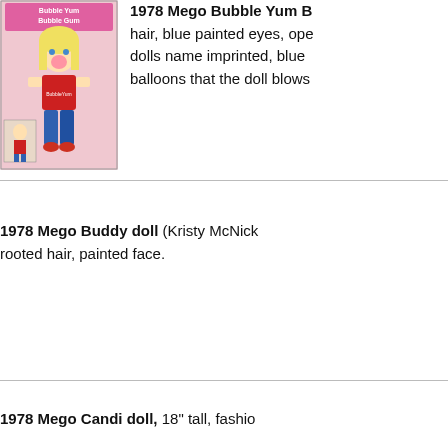[Figure (photo): Photo of 1978 Mego Bubble Yum Bubble Blowing doll in box, showing a blonde-haired doll in red shirt and blue shorts]
1978 Mego Bubble Yum B... hair, blue painted eyes, ope... dolls name imprinted, blue ... balloons that the doll blows...
1978 Mego Buddy doll (Kristy McNick... rooted hair, painted face.
1978 Mego Candi doll, 18" tall, fashio...